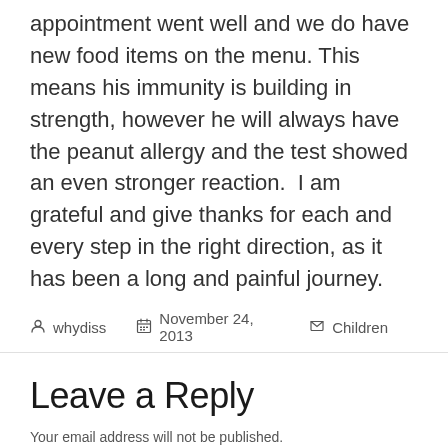appointment went well and we do have new food items on the menu. This means his immunity is building in strength, however he will always have the peanut allergy and the test showed an even stronger reaction.  I am grateful and give thanks for each and every step in the right direction, as it has been a long and painful journey.
whydiss  November 24, 2013  Children
Leave a Reply
Your email address will not be published.